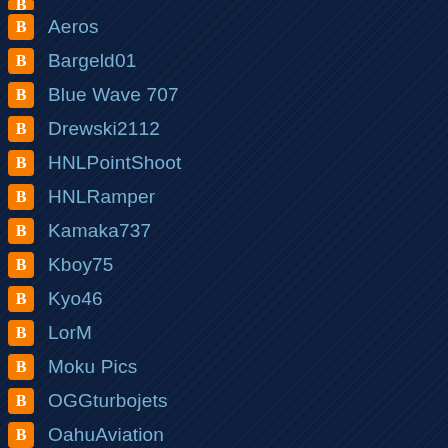Aeros
Bargeld01
Blue Wave 707
Drewski2112
HNLPointShoot
HNLRamper
Kamaka737
Kboy75
Kyo46
LorM
Moku Pics
OGGturbojets
OahuAviation
Pan Am Hawaii
Unknown
Unknown